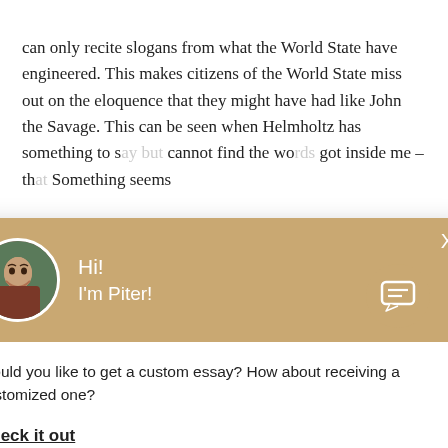can only recite slogans from what the World State have engineered. This makes citizens of the World State miss out on the eloquence that they might have had like John the Savage. This can be seen when Helmholtz has something to s[ay but] cannot find the wo[rds] got inside me – th[at] Something seems
The fact that Helm[holtz] shows how back-w[ard the] lack of language st[ills from] hypnopedia. He co[uld be] improving his lang[uage but] his struggle to find [words] for his feeling of emptiness. Ironically, Helmholtz complains that such plain and
[Figure (screenshot): Chat popup overlay with tan/brown header containing a circular avatar photo of a young man smiling, greeting text 'Hi! I'm Piter!', close X button, and body text 'Would you like to get a custom essay? How about receiving a customized one?' with a bold underlined 'Check it out' link.]
[Figure (screenshot): Circular tan chat icon button with a message/speech bubble icon, positioned at bottom right.]
Haven't Found The Essay You Want?
GET YOUR CUSTOM ESSAY
For Only $13.90/page